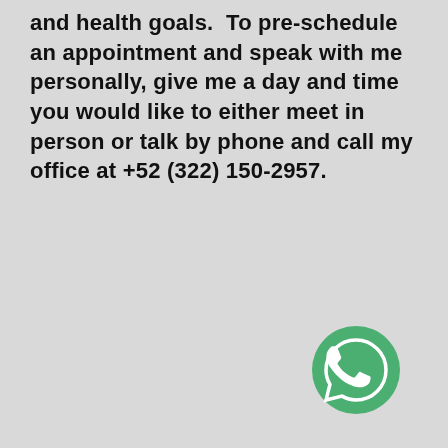and health goals.  To pre-schedule an appointment and speak with me personally, give me a day and time you would like to either meet in person or talk by phone and call my office at +52 (322) 150-2957.
[Figure (logo): WhatsApp logo — green circle with white phone handset speech bubble icon]